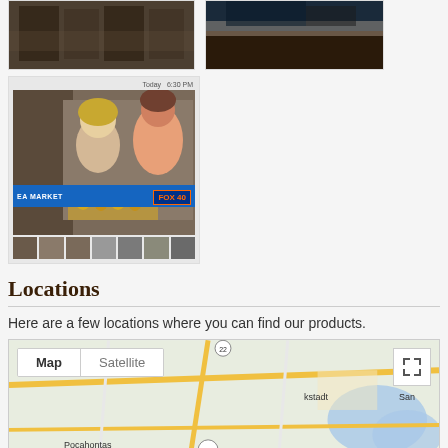[Figure (photo): Photo of an indoor market or store interior with dark wooden shelves]
[Figure (photo): Photo of an outdoor scene with dark sky/clouds]
[Figure (screenshot): Screenshot of a video or media player showing a FOX 40 news segment at a flea market, two women at a market stall with honey products, timestamp 'Today 6:30 PM', with EA MARKET lower-third bar and FOX 40 logo, thumbnail strip at bottom]
Locations
Here are a few locations where you can find our products.
[Figure (map): Google Maps embed showing map/satellite toggle, expand button, and a road map view with yellow roads, blue water features, and place labels including Pocahontas, Madison, kstadt, and Sand visible]